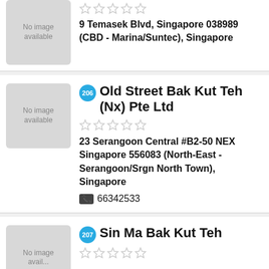[Figure (photo): No image available placeholder thumbnail]
[Figure (illustration): Five empty star rating icons]
9 Temasek Blvd, Singapore 038989 (CBD - Marina/Suntec), Singapore
[Figure (photo): No image available placeholder thumbnail]
206 Old Street Bak Kut Teh (Nx) Pte Ltd
[Figure (illustration): Five empty star rating icons]
23 Serangoon Central #B2-50 NEX Singapore 556083 (North-East - Serangoon/Srgn North Town), Singapore
66342533
[Figure (photo): No image available placeholder thumbnail]
207 Sin Ma Bak Kut Teh
[Figure (illustration): Five empty star rating icons]